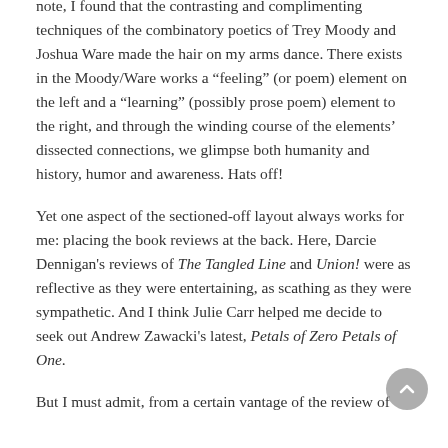note, I found that the contrasting and complimenting techniques of the combinatory poetics of Trey Moody and Joshua Ware made the hair on my arms dance. There exists in the Moody/Ware works a “feeling” (or poem) element on the left and a “learning” (possibly prose poem) element to the right, and through the winding course of the elements’ dissected connections, we glimpse both humanity and history, humor and awareness. Hats off!
Yet one aspect of the sectioned-off layout always works for me: placing the book reviews at the back. Here, Darcie Dennigan's reviews of The Tangled Line and Union! were as reflective as they were entertaining, as scathing as they were sympathetic. And I think Julie Carr helped me decide to seek out Andrew Zawacki's latest, Petals of Zero Petals of One.
But I must admit, from a certain vantage of the review of